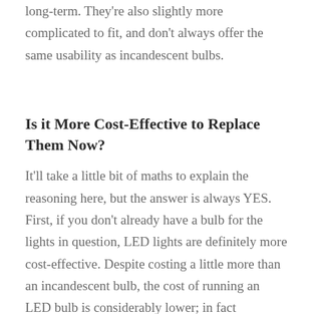long-term. They're also slightly more complicated to fit, and don't always offer the same usability as incandescent bulbs.
Is it More Cost-Effective to Replace Them Now?
It'll take a little bit of maths to explain the reasoning here, but the answer is always YES. First, if you don't already have a bulb for the lights in question, LED lights are definitely more cost-effective. Despite costing a little more than an incandescent bulb, the cost of running an LED bulb is considerably lower; in fact